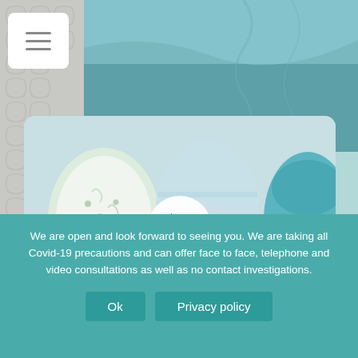[Figure (screenshot): A hamburger menu icon (three horizontal lines) in a white rounded rectangle button in the top-left corner over a muted background with puzzle pieces on the left and teal fabric/textile on the right.]
[Figure (photo): A video thumbnail showing baby feet/legs in colorful onesies lying on a white surface, with a white circular play button overlaid in the center.]
We are open and look forward to seeing you. We are taking all Covid-19 precautions and can offer face to face, telephone and video consultations as well as no contact investigations.
Ok
Privacy policy